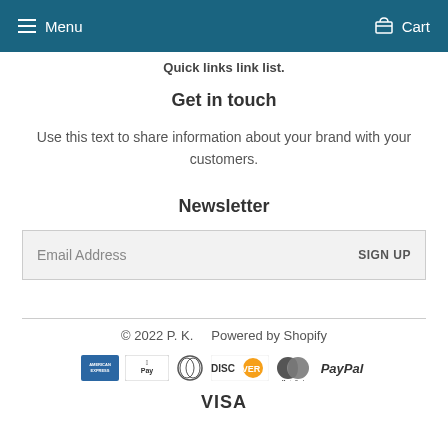Menu  Cart
Quick links link list.
Get in touch
Use this text to share information about your brand with your customers.
Newsletter
Email Address  SIGN UP
© 2022 P. K.  Powered by Shopify
[Figure (infographic): Payment method logos: American Express, Apple Pay, Diners Club, Discover, Mastercard, PayPal, Visa]